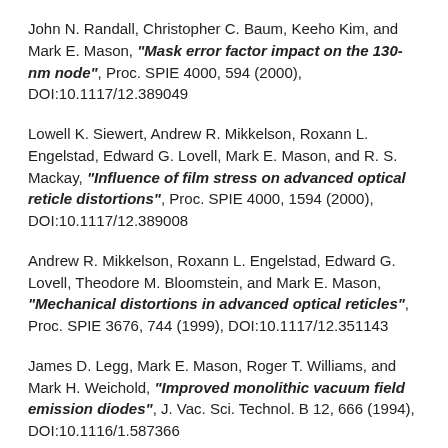John N. Randall, Christopher C. Baum, Keeho Kim, and Mark E. Mason, "Mask error factor impact on the 130-nm node", Proc. SPIE 4000, 594 (2000), DOI:10.1117/12.389049
Lowell K. Siewert, Andrew R. Mikkelson, Roxann L. Engelstad, Edward G. Lovell, Mark E. Mason, and R. S. Mackay, "Influence of film stress on advanced optical reticle distortions", Proc. SPIE 4000, 1594 (2000), DOI:10.1117/12.389008
Andrew R. Mikkelson, Roxann L. Engelstad, Edward G. Lovell, Theodore M. Bloomstein, and Mark E. Mason, "Mechanical distortions in advanced optical reticles", Proc. SPIE 3676, 744 (1999), DOI:10.1117/12.351143
James D. Legg, Mark E. Mason, Roger T. Williams, and Mark H. Weichold, "Improved monolithic vacuum field emission diodes", J. Vac. Sci. Technol. B 12, 666 (1994), DOI:10.1116/1.587366